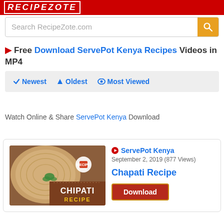RECIPEZOTE
Search RecipeZote.com
Free Download ServePot Kenya Recipes Videos in MP4
Newest  Oldest  Most Viewed
Watch Online & Share ServePot Kenya Download
[Figure (screenshot): Chapati Recipe video thumbnail from ServePot Kenya showing chapati flatbread with text CHIPATI RECIPE]
ServePot Kenya
September 2, 2019 (877 Views)
Chapati Recipe
Download